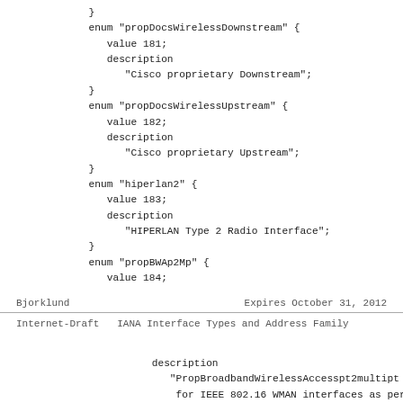}
            enum "propDocsWirelessDownstream" {
               value 181;
               description
                  "Cisco proprietary Downstream";
            }
            enum "propDocsWirelessUpstream" {
               value 182;
               description
                  "Cisco proprietary Upstream";
            }
            enum "hiperlan2" {
               value 183;
               description
                  "HIPERLAN Type 2 Radio Interface";
            }
            enum "propBWAp2Mp" {
               value 184;
Bjorklund                    Expires October 31, 2012
Internet-Draft   IANA Interface Types and Address Family
description
                  "PropBroadbandWirelessAccesspt2multipt use of
                   for IEEE 802.16 WMAN interfaces as per IEEE